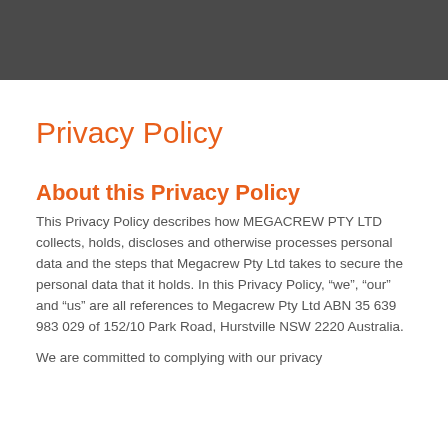Privacy Policy
About this Privacy Policy
This Privacy Policy describes how MEGACREW PTY LTD collects, holds, discloses and otherwise processes personal data and the steps that Megacrew Pty Ltd takes to secure the personal data that it holds. In this Privacy Policy, “we”, “our” and “us” are all references to Megacrew Pty Ltd ABN 35 639 983 029 of 152/10 Park Road, Hurstville NSW 2220 Australia.
We are committed to complying with our privacy